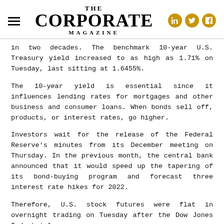THE CORPORATE MAGAZINE
in two decades. The benchmark 10-year U.S. Treasury yield increased to as high as 1.71% on Tuesday, last sitting at 1.6455%.
The 10-year yield is essential since it influences lending rates for mortgages and other business and consumer loans. When bonds sell off, products, or interest rates, go higher.
Investors wait for the release of the Federal Reserve's minutes from its December meeting on Thursday. In the previous month, the central bank announced that it would speed up the tapering of its bond-buying program and forecast three interest rate hikes for 2022.
Therefore, U.S. stock futures were flat in overnight trading on Tuesday after the Dow Jones Industrial